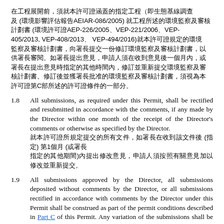[Chinese text block] (AEIAR-086/2005) [Chinese text] (AEP-226/2005、VEP-221/2006、VEP-405/2013, VEP-408/2013、VEP-494/2016)[Chinese text]
1.8   All submissions, as required under this Permit, shall be rectified and resubmitted in accordance with the comments, if any made by the Director within one month of the receipt of the Director's comments or otherwise as specified by the Director. [Chinese text] (Chinese) 第1個月 (Chinese text)
1.9   All submissions approved by the Director, all submissions deposited without comments by the Director, or all submissions rectified in accordance with comments by the Director under this Permit shall be construed as part of the permit conditions described in Part C of this Permit. Any variation of the submissions shall be approved by the Director in writing or as prescribed in the relevant permit conditions. Any non-compliance with the submissions...